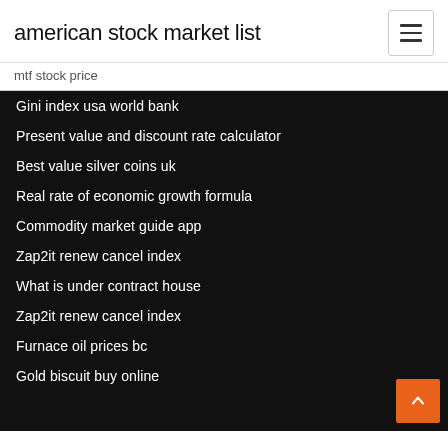american stock market list
mtf stock price
Gini index usa world bank
Present value and discount rate calculator
Best value silver coins uk
Real rate of economic growth formula
Commodity market guide app
Zap2it renew cancel index
What is under contract house
Zap2it renew cancel index
Furnace oil prices bc
Gold biscuit buy online